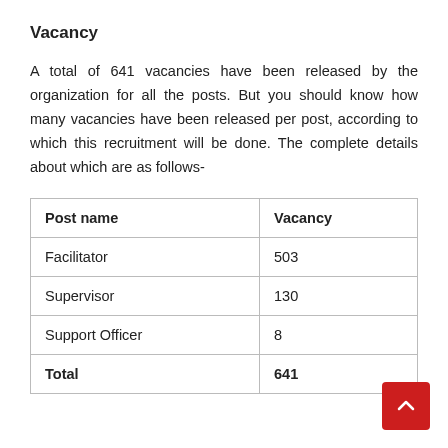Vacancy
A total of 641 vacancies have been released by the organization for all the posts. But you should know how many vacancies have been released per post, according to which this recruitment will be done. The complete details about which are as follows-
| Post name | Vacancy |
| --- | --- |
| Facilitator | 503 |
| Supervisor | 130 |
| Support Officer | 8 |
| Total | 641 |